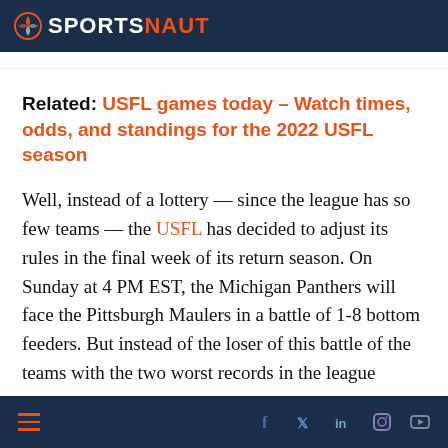SPORTSNAUT
Related: USFL games today – Watch times, odds, and standings for the 2022 USFL season
Well, instead of a lottery — since the league has so few teams — the USFL has decided to adjust its rules in the final week of its return season. On Sunday at 4 PM EST, the Michigan Panthers will face the Pittsburgh Maulers in a battle of 1-8 bottom feeders. But instead of the loser of this battle of the teams with the two worst records in the league